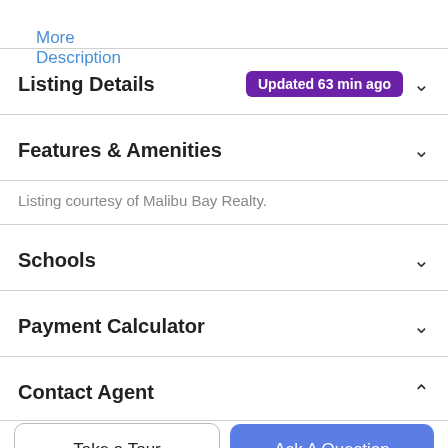More Description
Listing Details
Features & Amenities
Listing courtesy of Malibu Bay Realty.
Schools
Payment Calculator
Contact Agent
Take a Tour
Ask A Question